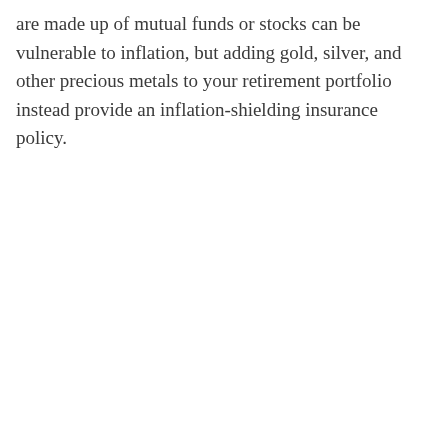are made up of mutual funds or stocks can be vulnerable to inflation, but adding gold, silver, and other precious metals to your retirement portfolio instead provide an inflation-shielding insurance policy.